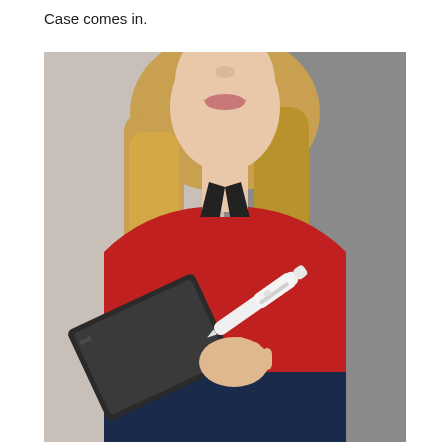Case comes in.
[Figure (photo): A smiling blonde woman wearing a red top and black top underneath, holding a tablet device in her left hand and a white stylus pen in her right hand. She is seated against a grey background. The stylus appears to be an Apple Pencil or similar device with a white case/accessory attached to it.]